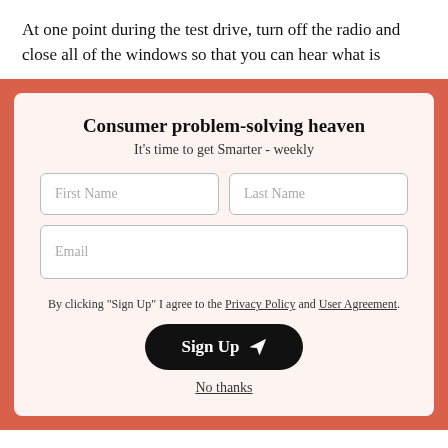At one point during the test drive, turn off the radio and close all of the windows so that you can hear what is
Consumer problem-solving heaven
It's time to get Smarter - weekly
By clicking "Sign Up" I agree to the Privacy Policy and User Agreement.
Sign Up
No thanks